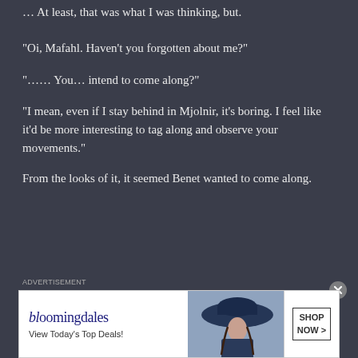… At least, that was what I was thinking, but.
“Oi, Mafahl. Haven’t you forgotten about me?”
“…… You… intend to come along?”
“I mean, even if I stay behind in Mjolnir, it’s boring. I feel like it’d be more interesting to tag along and observe your movements.”
From the looks of it, it seemed Benet wanted to come along.
[Figure (screenshot): Bloomingdale's advertisement banner: logo text 'bloomingdales', tagline 'View Today's Top Deals!', image of woman in wide-brim hat, 'SHOP NOW >' button]